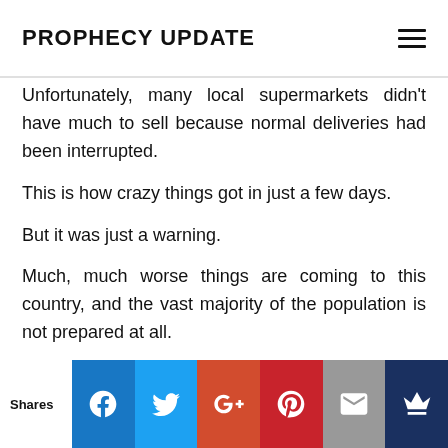PROPHECY UPDATE
Unfortunately, many local supermarkets didn't have much to sell because normal deliveries had been interrupted.
This is how crazy things got in just a few days.
But it was just a warning.
Much, much worse things are coming to this country, and the vast majority of the population is not prepared at all.
The “perfect storm” that myself and so many others have
Shares